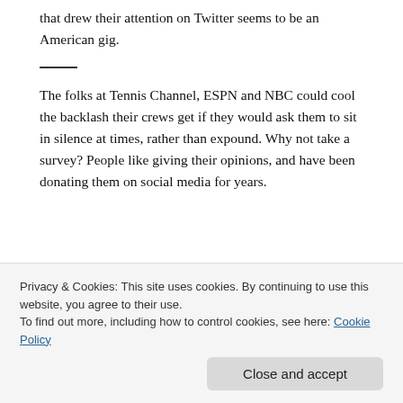that drew their attention on Twitter seems to be an American gig.
The folks at Tennis Channel, ESPN and NBC could cool the backlash their crews get if they would ask them to sit in silence at times, rather than expound. Why not take a survey? People like giving their opinions, and have been donating them on social media for years.
Who is your favorite commentary box?
Privacy & Cookies: This site uses cookies. By continuing to use this website, you agree to their use.
To find out more, including how to control cookies, see here: Cookie Policy
Close and accept